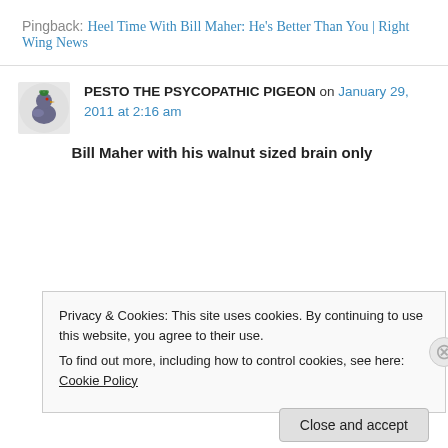Pingback: Heel Time With Bill Maher: He's Better Than You | Right Wing News
PESTO THE PSYCOPATHIC PIGEON on January 29, 2011 at 2:16 am
Bill Maher with his walnut sized brain only
Privacy & Cookies: This site uses cookies. By continuing to use this website, you agree to their use.
To find out more, including how to control cookies, see here: Cookie Policy